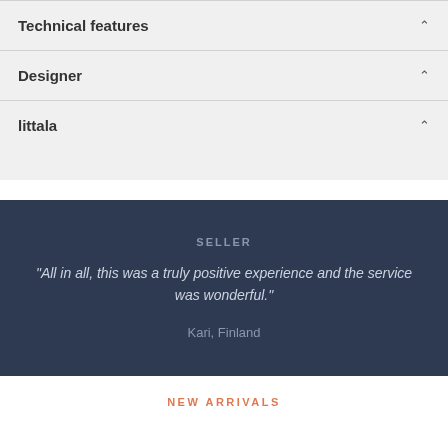Technical features
Designer
littala
SELLER
“All in all, this was a truly positive experience and the service was wonderful.”
Kari, Finland
NEW ARRIVALS